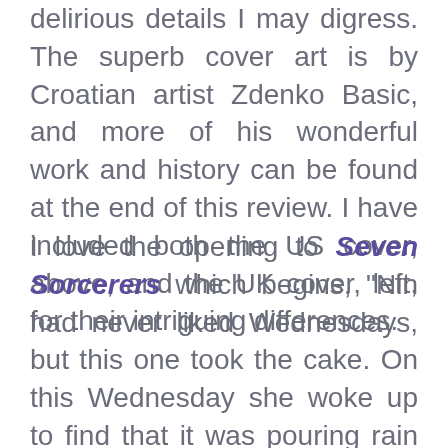delirious details I may digress. The superb cover art is by Croatian artist Zdenko Basic, and more of his wonderful work and history can be found at the end of this review. I have included both the US cover, above, and the UK cover, left, for their intriguing differences.
I love the opening to Seven Sorcerers which begins, "Nin had never liked Wednesdays, but this one took the cake. On this Wednesday she woke up to find that it was pouring rain and her little brother had ceased to exist." Toby has been stolen by a